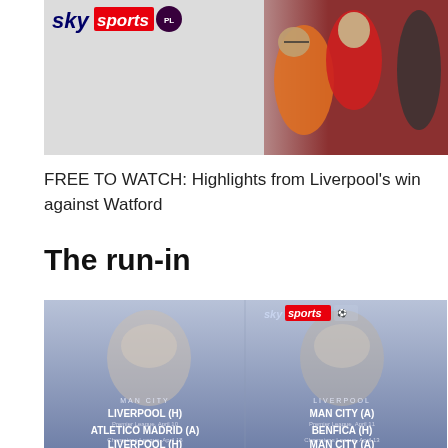[Figure (photo): Sky Sports Premier League branded image showing a footballer celebrating in red kit with fans in background]
FREE TO WATCH: Highlights from Liverpool’s win against Watford
The run-in
[Figure (infographic): Sky Sports graphic split panel showing Man City vs Liverpool run-in fixtures. Left side: MAN CITY - LIVERPOOL (H) Premier League April 10, ATLETICO MADRID (A) Champions League April 18, LIVERPOOL (H). Right side: LIVERPOOL - MAN CITY (A) Premier League April 11, BENFICA (H) Champions League April 13, MAN CITY (A).]